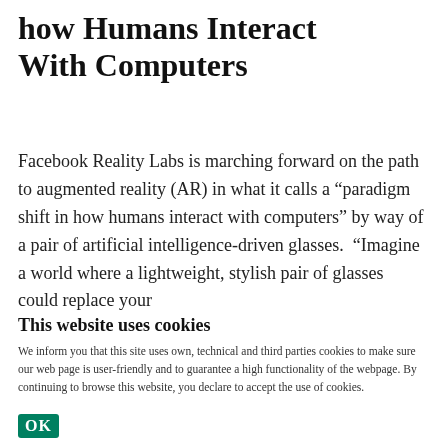how Humans Interact With Computers
Facebook Reality Labs is marching forward on the path to augmented reality (AR) in what it calls a “paradigm shift in how humans interact with computers” by way of a pair of artificial intelligence-driven glasses. “Imagine a world where a lightweight, stylish pair of glasses could replace your
This website uses cookies
We inform you that this site uses own, technical and third parties cookies to make sure our web page is user-friendly and to guarantee a high functionality of the webpage. By continuing to browse this website, you declare to accept the use of cookies.
OK